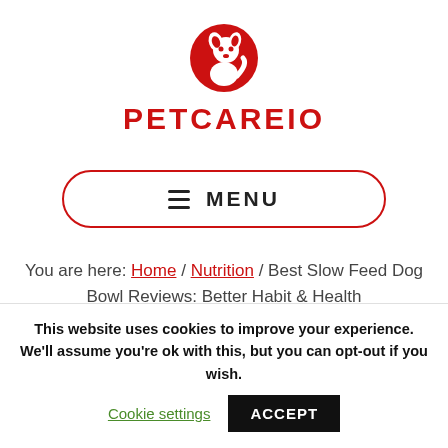[Figure (logo): PETCAREIO logo: red circle with dog/cat silhouette icon, red bold text 'PETCAREIO' below]
≡ MENU
You are here: Home / Nutrition / Best Slow Feed Dog Bowl Reviews: Better Habit & Health
This website uses cookies to improve your experience. We'll assume you're ok with this, but you can opt-out if you wish.
Cookie settings  ACCEPT